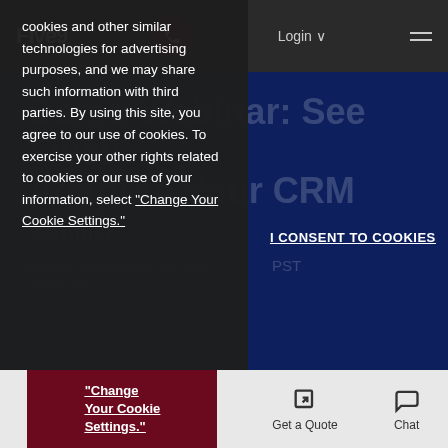Five9 navigation bar with logo, phone button, Login, and menu
cookies and other similar technologies for advertising purposes, and we may share such information with third parties. By using this site, you agree to our use of cookies. To exercise your other rights related to cookies or our use of your information, select "Change Your Cookie Settings."
Demo Webinar: See Five9 Adapt to Your CRM
I CONSENT TO COOKIES
Webinar
Friday, September 16, 2022 - PST 11:00 am
"Change Your Cookie Settings."
Get a Quote | Chat